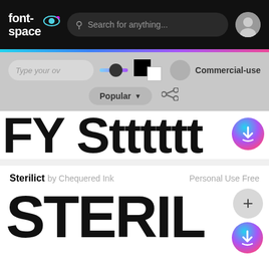[Figure (screenshot): FontSpace website navigation bar with logo, search bar, and user avatar]
[Figure (screenshot): Font preview controls: text input, size slider, color swatches, Commercial-use toggle, Popular dropdown, share icon]
[Figure (screenshot): Large font preview showing partial text in bold black letters, with download button]
Sterilict by Chequered Ink
Personal Use Free
[Figure (screenshot): Font preview showing STERIL in bold futuristic font, with plus and download buttons]